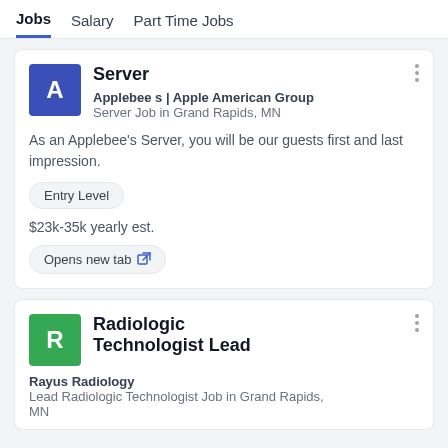Jobs  Salary  Part Time Jobs
Server
Applebee s | Apple American Group
Server Job in Grand Rapids, MN
As an Applebee's Server, you will be our guests first and last impression.
Entry Level
$23k-35k yearly est.
Opens new tab
Radiologic Technologist Lead
Rayus Radiology
Lead Radiologic Technologist Job in Grand Rapids, MN